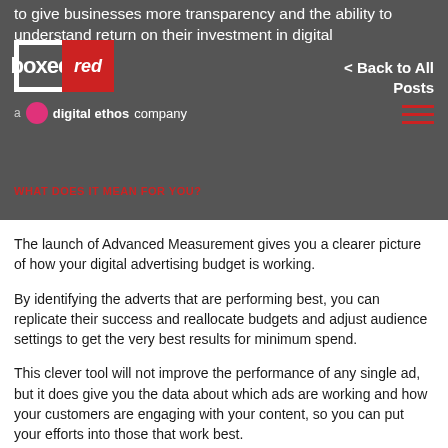to give businesses more transparency and the ability to understand return on their investment in digital
[Figure (logo): Boxed Red logo with black outline box and red filled block, and 'a digital ethos company' tagline below]
< Back to All Posts
WHAT DOES IT MEAN FOR YOU?
The launch of Advanced Measurement gives you a clearer picture of how your digital advertising budget is working.
By identifying the adverts that are performing best, you can replicate their success and reallocate budgets and adjust audience settings to get the very best results for minimum spend.
This clever tool will not improve the performance of any single ad, but it does give you the data about which ads are working and how your customers are engaging with your content, so you can put your efforts into those that work best.